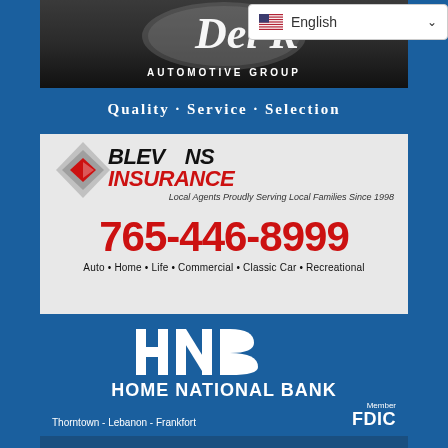[Figure (logo): Del R Automotive Group logo with script lettering and tagline 'Quality · Service · Selection' on dark background]
[Figure (logo): Language selector overlay showing English with US flag]
[Figure (logo): Blevins Insurance advertisement with diamond logo, phone number 765-446-8999, tagline 'Local Agents Proudly Serving Local Families Since 1998', services: Auto, Home, Life, Commercial, Classic Car, Recreational]
[Figure (logo): Home National Bank advertisement with HNB letters logo, locations Thorntown - Lebanon - Frankfort, Member FDIC]
[Figure (logo): Partial bottom advertisement, dark blue background]